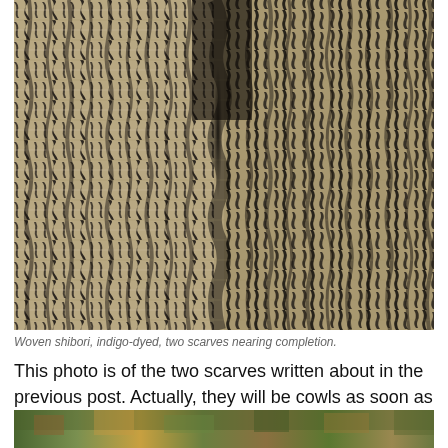[Figure (photo): Close-up photo of woven shibori fabric, indigo-dyed, showing two scarves with a wavy, striped pattern in dark navy/black and tan/beige tones. The fabric has a distinctive zigzag/chevron texture created by the weaving and dyeing process.]
Woven shibori, indigo-dyed, two scarves nearing completion.
This photo is of the two scarves written about in the previous post.  Actually, they will be cowls as soon as I sew a flat-fell type seam on each.
[Figure (photo): Partial view of another photo at the bottom of the page, appearing to show an outdoor scene with colorful elements.]